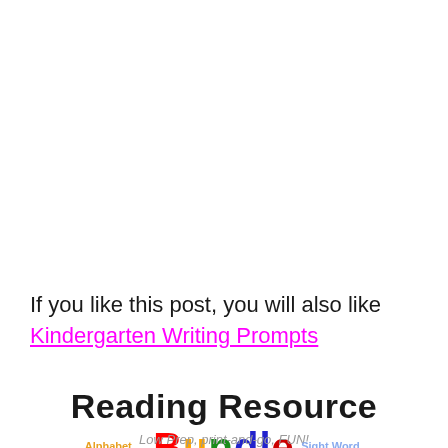If you like this post, you will also like
Kindergarten Writing Prompts
Reading Resource Bundle
Low Prep, print-and-go, FUN!
Alphabet Bundle   Sight Word Worksheets